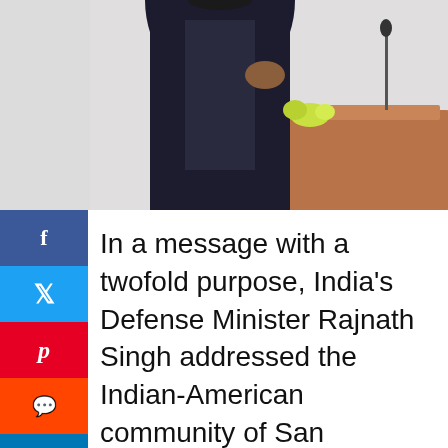[Figure (photo): A person in dark formal attire speaking at a podium with a microphone, with yellow flowers visible on the podium.]
In a message with a twofold purpose, India's Defense Minister Rajnath Singh addressed the Indian-American community of San Francisco by both